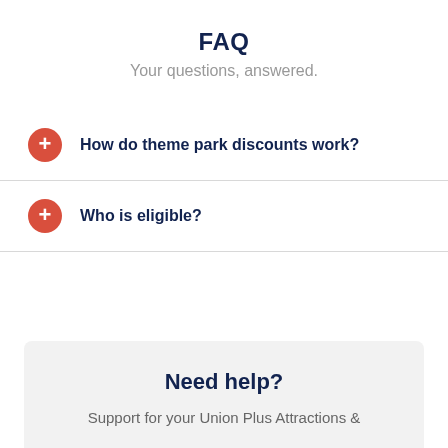FAQ
Your questions, answered.
How do theme park discounts work?
Who is eligible?
Need help?
Support for your Union Plus Attractions &